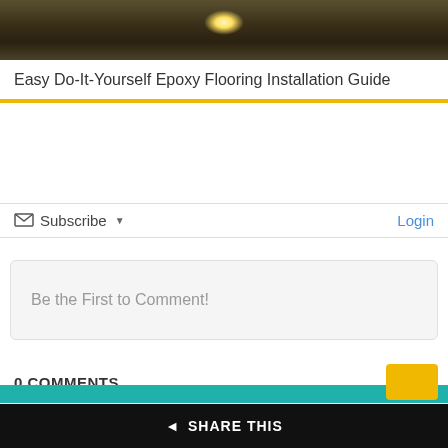[Figure (photo): Dark atmospheric photo showing a bright light glare against a dark smoky or cloudy background]
Easy Do-It-Yourself Epoxy Flooring Installation Guide
Subscribe ▾  Login
Be the First to Comment!
0 COMMENTS
SHARE THIS